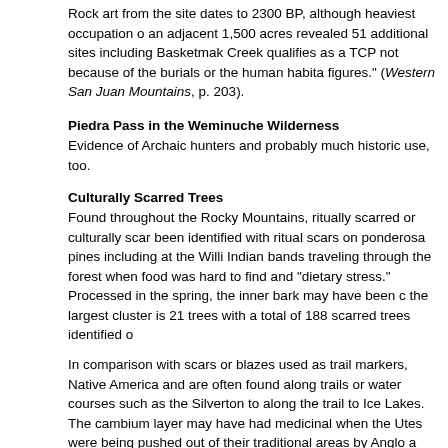Rock art from the site dates to 2300 BP, although heaviest occupation of an adjacent 1,500 acres revealed 51 additional sites including Basketmaker Creek qualifies as a TCP not because of the burials or the human habitation figures." (Western San Juan Mountains, p. 203).
Piedra Pass in the Weminuche Wilderness
Evidence of Archaic hunters and probably much historic use, too.
Culturally Scarred Trees
Found throughout the Rocky Mountains, ritually scarred or culturally scarred been identified with ritual scars on ponderosa pines including at the Williams Indian bands traveling through the forest when food was hard to find and "dietary stress."  Processed in the spring, the inner bark may have been the largest cluster is 21 trees with a total of 188 scarred trees identified on
In comparison with scars or blazes used as trail markers, Native Americans and are often found along trails or water courses such as the Silverton to along the trail to Ice Lakes.  The cambium layer may have had medicinal when the Utes were being pushed out of their traditional areas by Anglo a
A San Juan National Forest campground that has two outstanding examples Ivikukuch or target tree, the site represents a place on the forest where U of candy and then used the inner cambium bark of the tree for soups, ste
Interpretive signs bear the seal of the Ute Mountain Ute tribe and list Terry 'scars' on other ponderosa pines.  This is evidence that the area was once boundary markers, then perhaps those trees have both cultural and histo
Navajo Sweatlodges
Found on the Dolores District these were built and used by Navajo labore